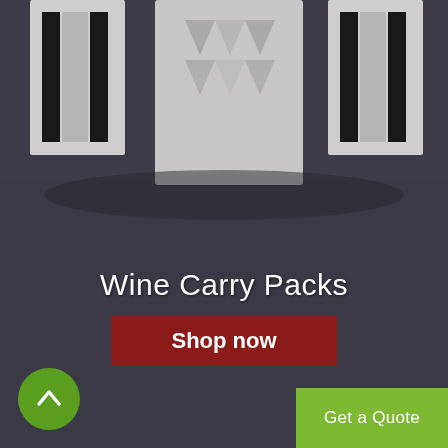[Figure (photo): Dark gray textured carpet floor with white architectural display structures/wine carriers visible at the top of the frame, photographed from above]
Wine Carry Packs
Shop now
Get a Quote